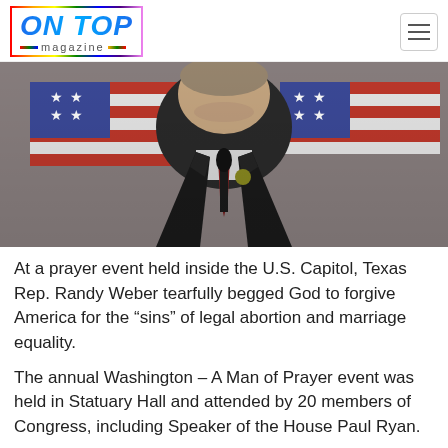ON TOP magazine
[Figure (photo): A man in a dark suit and tie standing at a microphone, head bowed, with American flags in the background]
At a prayer event held inside the U.S. Capitol, Texas Rep. Randy Weber tearfully begged God to forgive America for the “sins” of legal abortion and marriage equality.
The annual Washington – A Man of Prayer event was held in Statuary Hall and attended by 20 members of Congress, including Speaker of the House Paul Ryan.